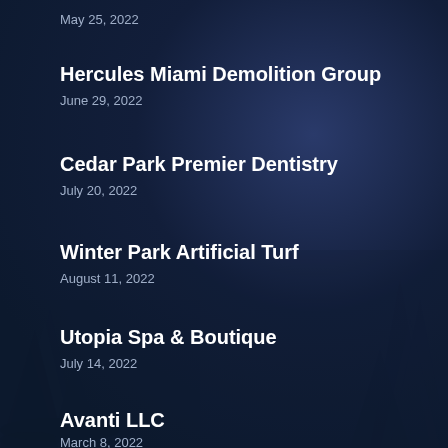May 25, 2022
Hercules Miami Demolition Group
June 29, 2022
Cedar Park Premier Dentistry
July 20, 2022
Winter Park Artificial Turf
August 11, 2022
Utopia Spa & Boutique
July 14, 2022
Avanti LLC
March 8, 2022